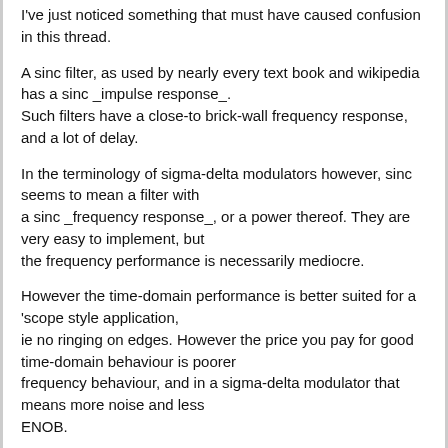I've just noticed something that must have caused confusion in this thread.
A sinc filter, as used by nearly every text book and wikipedia has a sinc _impulse response_.
Such filters have a close-to brick-wall frequency response, and a lot of delay.
In the terminology of sigma-delta modulators however, sinc seems to mean a filter with
a sinc _frequency response_, or a power thereof. They are very easy to implement, but
the frequency performance is necessarily mediocre.
However the time-domain performance is better suited for a 'scope style application,
ie no ringing on edges. However the price you pay for good time-domain behaviour is poorer
frequency behaviour, and in a sigma-delta modulator that means more noise and less
ENOB.